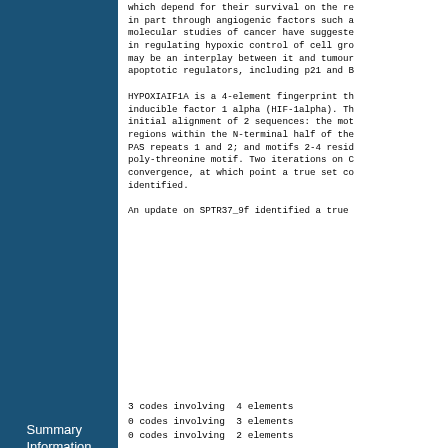which depend for their survival on the release in part through angiogenic factors such as molecular studies of cancer have suggested in regulating hypoxic control of cell growth may be an interplay between it and tumour apoptotic regulators, including p21 and B

HYPOXIAIF1A is a 4-element fingerprint that inducible factor 1 alpha (HIF-1alpha). The initial alignment of 2 sequences: the motif regions within the N-terminal half of the PAS repeats 1 and 2; and motifs 2-4 reside poly-threonine motif. Two iterations on convergence, at which point a true set could be identified.

An update on SPTR37_9f identified a true
Summary Information
3 codes involving  4 elements
0 codes involving  3 elements
0 codes involving  2 elements
Composite Feature Index
| 4 | 3 | 3 | 3 | 3 |
| 3 | 0 | 0 | 0 | 0 |
| 2 | 0 | 0 | 0 | 0 |